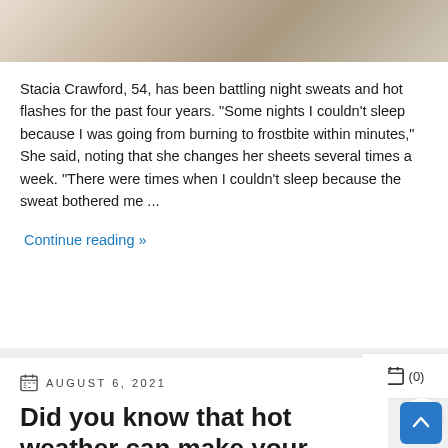[Figure (photo): Partial photo of a woman at a laptop, cropped at top of page]
Stacia Crawford, 54, has been battling night sweats and hot flashes for the past four years. "Some nights I couldn't sleep because I was going from burning to frostbite within minutes," She said, noting that she changes her sheets several times a week. "There were times when I couldn't sleep because the sweat bothered me ...
Continue reading »
AUGUST 6, 2021
Did you know that hot weather can make your period worse?